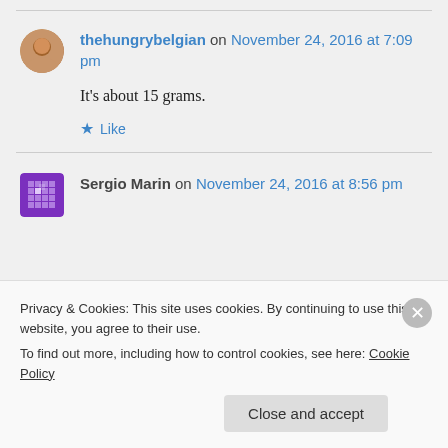thehungrybelgian on November 24, 2016 at 7:09 pm
It's about 15 grams.
Like
Sergio Marin on November 24, 2016 at 8:56 pm
Privacy & Cookies: This site uses cookies. By continuing to use this website, you agree to their use.
To find out more, including how to control cookies, see here: Cookie Policy
Close and accept